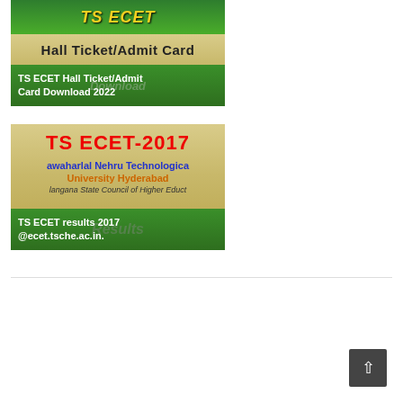[Figure (illustration): TS ECET Hall Ticket/Admit Card Download 2022 banner image with green background and gold/beige text band]
[Figure (illustration): TS ECET-2017 results banner showing Jawaharlal Nehru Technological University Hyderabad and Telangana State Council of Higher Education, results at ecet.tsche.ac.in]